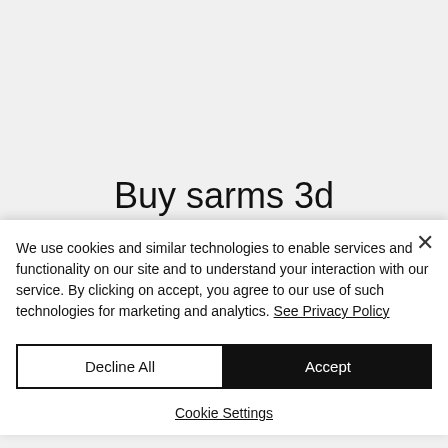Buy sarms 3d
We use cookies and similar technologies to enable services and functionality on our site and to understand your interaction with our service. By clicking on accept, you agree to our use of such technologies for marketing and analytics. See Privacy Policy
Decline All
Accept
Cookie Settings